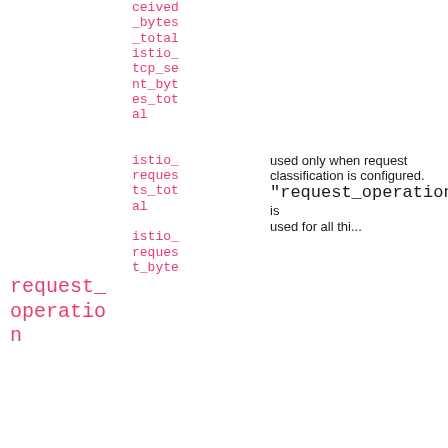|  | ceived
_bytes
_total
istio_
tcp_se
nt_byt
es_tot
al |  |
|  | istio_
reques
ts_tot
al
istio_
reques
t_byte | used only when request classification is configured.
"request_operation" is |
| request_
operatio
n |  |  |